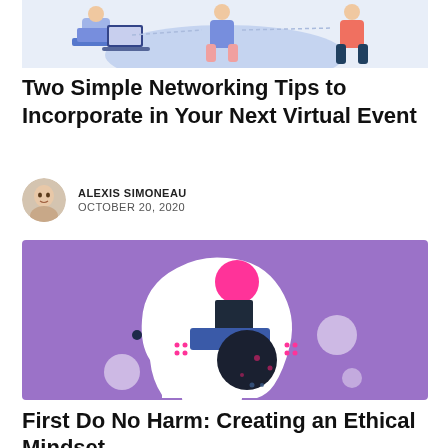[Figure (illustration): Illustration of people networking at a virtual event, with blue and coral tones]
Two Simple Networking Tips to Incorporate in Your Next Virtual Event
ALEXIS SIMONEAU
OCTOBER 20, 2020
[Figure (illustration): Purple background illustration of a human head silhouette containing geometric shapes: a pink circle, dark square, blue rectangle, and dark navy circle, representing ethical mindset concepts]
First Do No Harm: Creating an Ethical Mindset